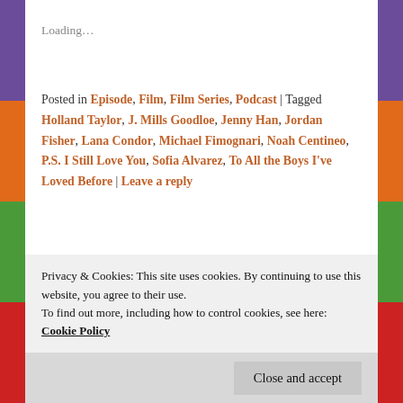Loading…
Posted in Episode, Film, Film Series, Podcast | Tagged Holland Taylor, J. Mills Goodloe, Jenny Han, Jordan Fisher, Lana Condor, Michael Fimognari, Noah Centineo, P.S. I Still Love You, Sofia Alvarez, To All the Boys I've Loved Before | Leave a reply
Episode #286: The Fantabulous Hot Mess of
Privacy & Cookies: This site uses cookies. By continuing to use this website, you agree to their use. To find out more, including how to control cookies, see here: Cookie Policy
Close and accept
Emancipation of One Harley Quinn (2020), from the